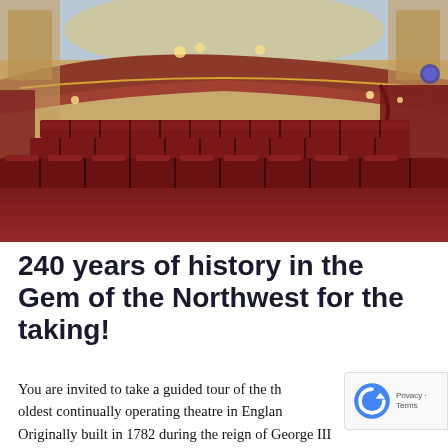[Figure (photo): Interior of a historic theatre showing rows of dark red velvet seats in the stalls, ornate balcony with gold railings, warm lighting, decorative ceiling, red carpeted floor, and theatrical drapes.]
240 years of history in the Gem of the Northwest for the taking!
You are invited to take a guided tour of the th oldest continually operating theatre in Englan Originally built in 1782 during the reign of George III